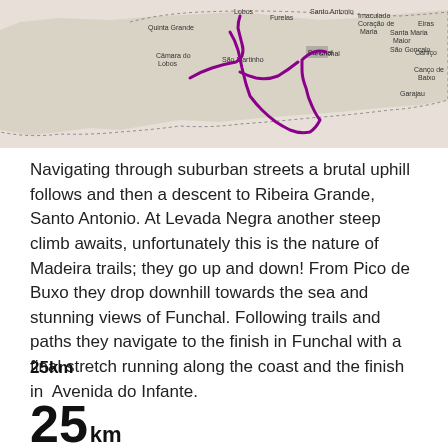[Figure (map): A map of Madeira island showing a purple route line from Câmara de Lobos area through São Martinho and Funchal, with surrounding town names including Quinta Grande, Santo Antonio, Imaculado Coração de Maria, Santa Maria Maior, São Gonçalo, Canço de Baixo, Caniço, Garajau, Lobos, and Furelas.]
Navigating through suburban streets a brutal uphill follows and then a descent to Ribeira Grande, Santo Antonio. At Levada Negra another steep climb awaits, unfortunately this is the nature of Madeira trails; they go up and down! From Pico de Buxo they drop downhill towards the sea and stunning views of Funchal. Following trails and paths they navigate to the finish in Funchal with a final stretch running along the coast and the finish in  Avenida do Infante.
25km
25km